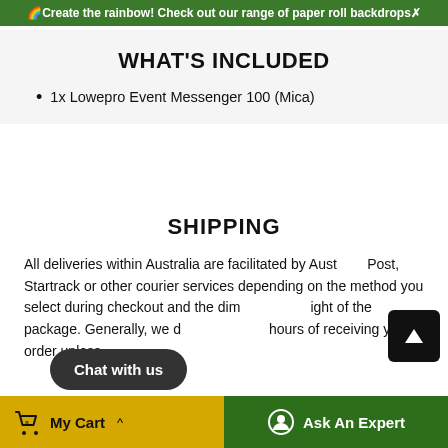🌈Create the rainbow! Check out our range of paper roll backdrops✗
WHAT'S INCLUDED
1x Lowepro Event Messenger 100 (Mica)
SHIPPING
All deliveries within Australia are facilitated by Australia Post, Startrack or other courier services depending on the method you select during checkout and the dimensions/weight of the package. Generally, we dispatch within hours of receiving your order unless